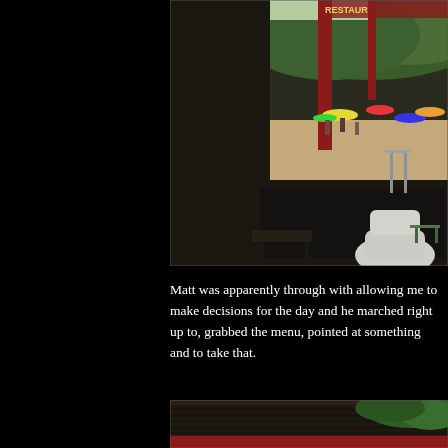[Figure (photo): Beach restaurant/bar scene with wooden tables and benches on sand, a white plastic chair visible in foreground, colorful umbrellas and beachgoers in the background, trees and hills visible in distance, red structural posts of the establishment visible]
Matt was apparently through with allowing me to make decisions for the day and he marched right up to, grabbed the menu, pointed at something and to take that.
[Figure (photo): Partial view of a thatched or shingled roof with tropical vegetation, red structural element visible below]